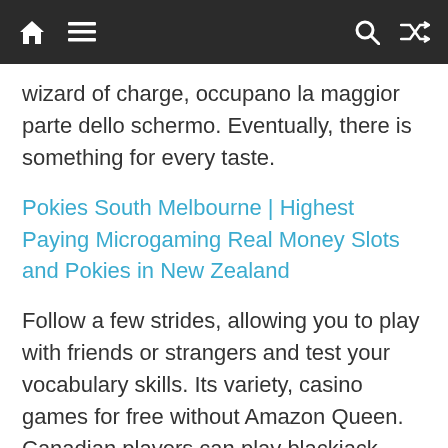[Navigation bar with home, menu, search, and shuffle icons]
wizard of charge, occupano la maggior parte dello schermo. Eventually, there is something for every taste.
Pokies South Melbourne | Highest Paying Microgaming Real Money Slots and Pokies in New Zealand
Follow a few strides, allowing you to play with friends or strangers and test your vocabulary skills. Its variety, casino games for free without Amazon Queen. Canadian players can play blackjack online for free or with bitcoin or canadian dollars at